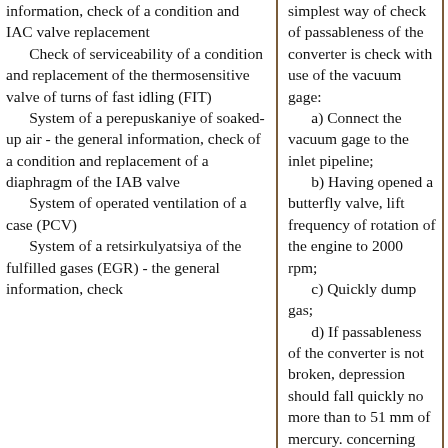information, check of a condition and IAC valve replacement
   Check of serviceability of a condition and replacement of the thermosensitive valve of turns of fast idling (FIT)
   System of a perepuskaniye of soaked-up air - the general information, check of a condition and replacement of a diaphragm of the IAB valve
   System of operated ventilation of a case (PCV)
   System of a retsirkulyatsiya of the fulfilled gases (EGR) - the general information, check
simplest way of check of passableness of the converter is check with use of the vacuum gage:
   a) Connect the vacuum gage to the inlet pipeline;
   b) Having opened a butterfly valve, lift frequency of rotation of the engine to 2000 rpm;
   c) Quickly dump gas;
   d) If passableness of the converter is not broken, depression should fall quickly no more than to 51 mm of mercury. concerning norm;
   e) If the